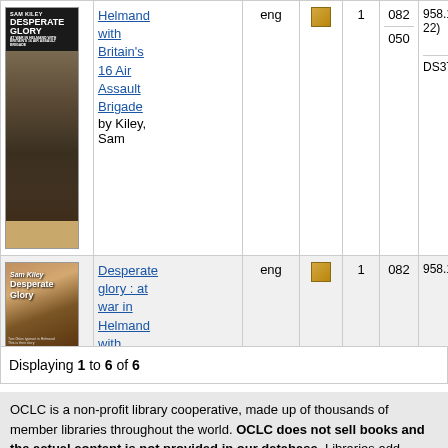| Cover | Title/Author | Lang | Format | Copies | Ed | Call# |
| --- | --- | --- | --- | --- | --- | --- |
| [book cover] | Helmand with Britain's 16 Air Assault Brigade by Kiley, Sam | eng | [icon] | 1 | 082 | 958.10470922) / 050 DS371.413 |
| [book cover] | Desperate glory : at war in Helmand with Britain's 16 Air Assault Brigade by Kiley, Sam | eng | [icon] | 1 | 082 | 958.10470... |
Displaying 1 to 6 of 6
OCLC is a non-profit library cooperative, made up of thousands of member libraries throughout the world. OCLC does not sell books and the actual content is not provided in our database. Libraries add